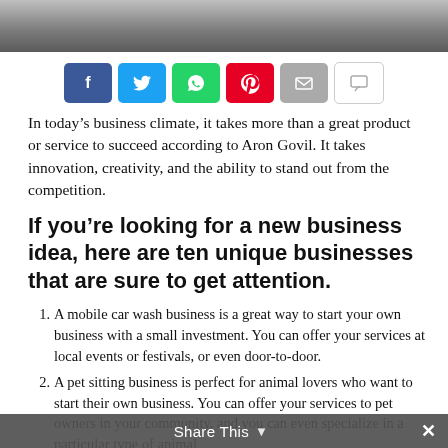[Figure (photo): Top strip photograph showing a person or object, partially cropped]
[Figure (infographic): Social sharing buttons row: Facebook (blue), Twitter (light blue), WhatsApp (green), Pinterest (red), Email (grey), Comment (white/grey outline)]
In today’s business climate, it takes more than a great product or service to succeed according to Aron Govil. It takes innovation, creativity, and the ability to stand out from the competition.
If you’re looking for a new business idea, here are ten unique businesses that are sure to get attention.
A mobile car wash business is a great way to start your own business with a small investment. You can offer your services at local events or festivals, or even door-to-door.
A pet sitting business is perfect for animal lovers who want to start their own business. You can offer your services to pet owners in your community, and you can even specialize in a particular type of animal if you prefer.
Share This